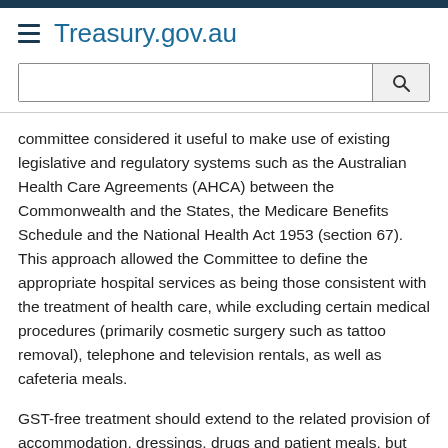Treasury.gov.au
committee considered it useful to make use of existing legislative and regulatory systems such as the Australian Health Care Agreements (AHCA) between the Commonwealth and the States, the Medicare Benefits Schedule and the National Health Act 1953 (section 67). This approach allowed the Committee to define the appropriate hospital services as being those consistent with the treatment of health care, while excluding certain medical procedures (primarily cosmetic surgery such as tattoo removal), telephone and television rentals, as well as cafeteria meals.
GST-free treatment should extend to the related provision of accommodation, dressings, drugs and patient meals, but